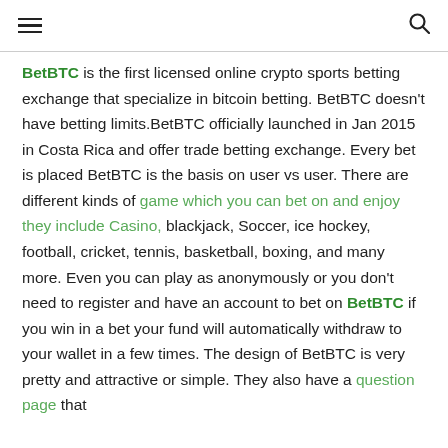≡  🔍
BetBTC is the first licensed online crypto sports betting exchange that specialize in bitcoin betting. BetBTC doesn't have betting limits.BetBTC officially launched in Jan 2015 in Costa Rica and offer trade betting exchange. Every bet is placed BetBTC is the basis on user vs user. There are different kinds of game which you can bet on and enjoy they include Casino, blackjack, Soccer, ice hockey, football, cricket, tennis, basketball, boxing, and many more. Even you can play as anonymously or you don't need to register and have an account to bet on BetBTC if you win in a bet your fund will automatically withdraw to your wallet in a few times. The design of BetBTC is very pretty and attractive or simple. They also have a question page that